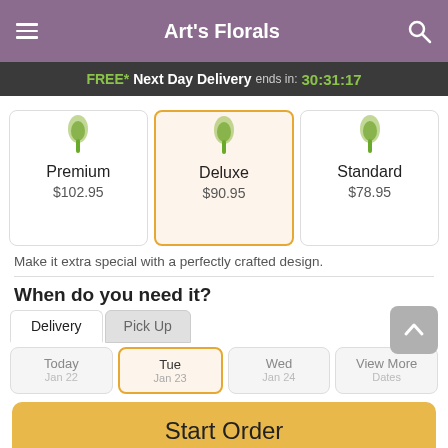Art's Florals
FREE* Next Day Delivery ends in: 30:31:17
[Figure (screenshot): Three product option cards: Premium $102.95, Deluxe $90.95 (selected, highlighted), Standard $78.95, each with a flower image above]
Make it extra special with a perfectly crafted design.
When do you need it?
Delivery | Pick Up tabs
Today | Tue | Wed | View More Dates — day selection cards
Start Order